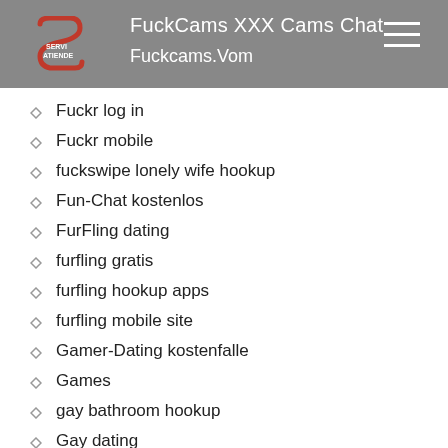FuckCams XXX Cams Chat | Fuckcams.Vom
Fuckr log in
Fuckr mobile
fuckswipe lonely wife hookup
Fun-Chat kostenlos
FurFling dating
furfling gratis
furfling hookup apps
furfling mobile site
Gamer-Dating kostenfalle
Games
gay bathroom hookup
Gay dating
Gay Guys Live XXX Cam
Gay Guys Porn
Gay Harem mobile